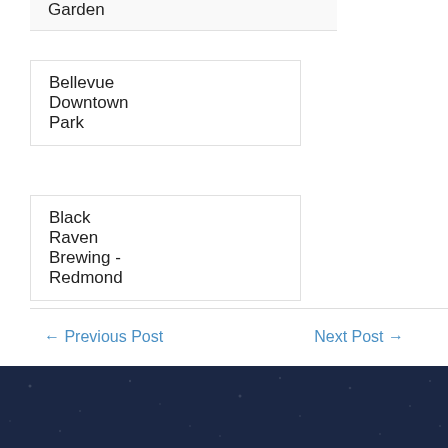Garden
Bellevue Downtown Park
Black Raven Brewing - Redmond
← Previous Post
Next Post →
[Figure (photo): Dark navy blue textured footer background]